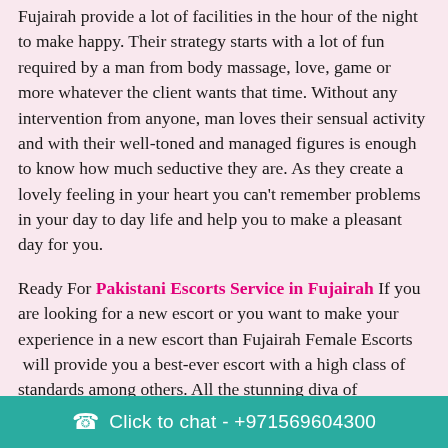Fujairah provide a lot of facilities in the hour of the night to make happy. Their strategy starts with a lot of fun required by a man from body massage, love, game or more whatever the client wants that time. Without any intervention from anyone, man loves their sensual activity and with their well-toned and managed figures is enough to know how much seductive they are. As they create a lovely feeling in your heart you can't remember problems in your day to day life and help you to make a pleasant day for you.
Ready For Pakistani Escorts Service in Fujairah If you are looking for a new escort or you want to make your experience in a new escort than Fujairah Female Escorts  will provide you a best-ever escort with a high class of standards among others. All the stunning diva of Independent FUJ-Fujairah Escorts is ready for seducing man toward sexual fun in their life. India Call girls are always ready to give love on demand and ready to captivate... fashionable, hotness enough to be with you at any
Click to chat - +971569604300